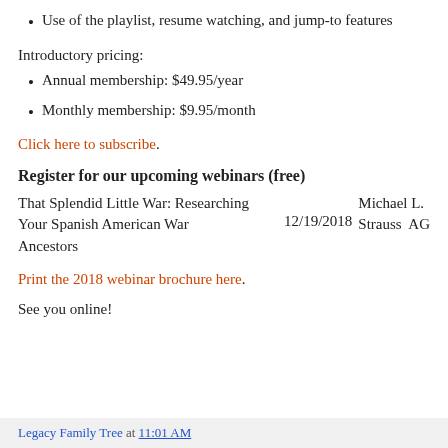Use of the playlist, resume watching, and jump-to features
Introductory pricing:
Annual membership: $49.95/year
Monthly membership: $9.95/month
Click here to subscribe.
Register for our upcoming webinars (free)
That Splendid Little War: Researching Your Spanish American War Ancestors   12/19/2018   Michael L. Strauss AG
Print the 2018 webinar brochure here.
See you online!
Legacy Family Tree at 11:01 AM